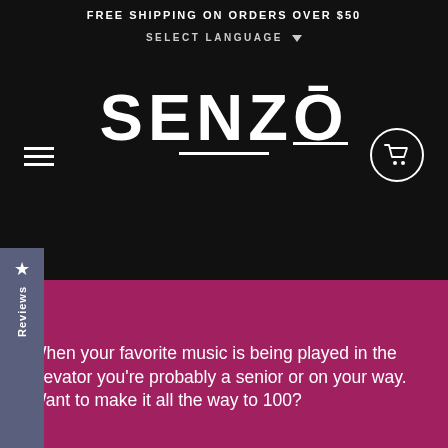FREE SHIPPING ON ORDERS OVER $50
SELECT LANGUAGE
SENZO
★ Reviews
When your favorite music is being played in the elevator you're probably a senior or on your way. Want to make it all the way to 100?
At 20, that's 80 years off, at 80 that's 20 years off. Maybe you just want to live long enough to spend all your money without a cent leftover.